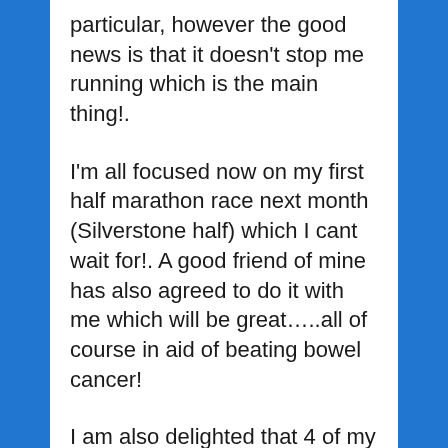particular, however the good news is that it doesn't stop me running which is the main thing!.
I'm all focused now on my first half marathon race next month (Silverstone half) which I cant wait for!. A good friend of mine has also agreed to do it with me which will be great…..all of course in aid of beating bowel cancer!
I am also delighted that 4 of my work colleagues are running the Surrey half marathon on the 8th March on behalf of 'runthroughcancer / beating bowel cancer'!. They have all been training really hard and are 'well set' for the day. Their fund raising efforts have also been fantastic and hugely helped in